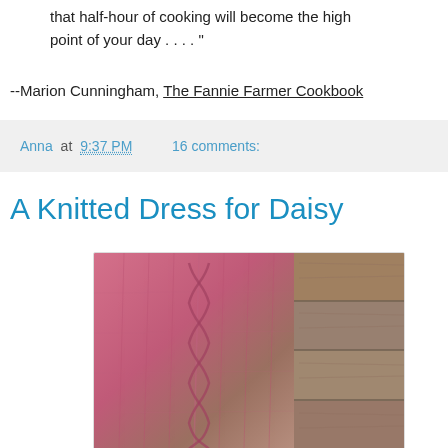that half-hour of cooking will become the high point of your day . . . . "
--Marion Cunningham, The Fannie Farmer Cookbook
Anna at 9:37 PM    16 comments:
A Knitted Dress for Daisy
[Figure (photo): Close-up photo of a pink knitted dress with cable patterns, draped over what appears to be wooden boards or a bench.]